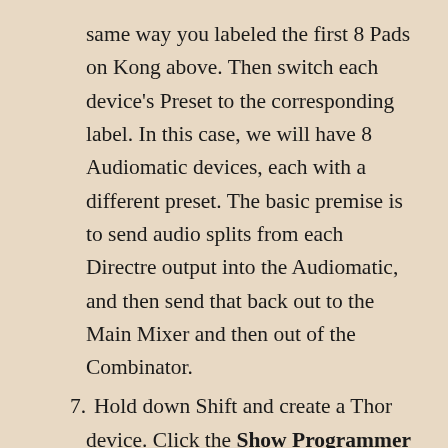same way you labeled the first 8 Pads on Kong above. Then switch each device's Preset to the corresponding label. In this case, we will have 8 Audiomatic devices, each with a different preset. The basic premise is to send audio splits from each Directre output into the Audiomatic, and then send that back out to the Main Mixer and then out of the Combinator.
7. Hold down Shift and create a Thor device. Click the Show Programmer buttton. Name the Thor device “Sequencer.” On the Global panel, set the Pitch Bend range, Polyphony, and Release Polyphony to 0. Relabel Button 1 “Trig Step Seq” and disable both the MIDI & Step Seq buttons. In the Programmer panel,